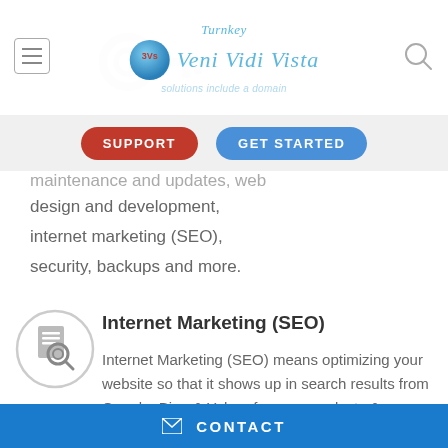Turnkey Veni Vidi Vista
maintenance and updates, web design and development, internet marketing (SEO), security, backups and more.
Internet Marketing (SEO)
Internet Marketing (SEO) means optimizing your website so that it shows up in search results from Google, Bing & Yahoo for your products & services.
CONTACT